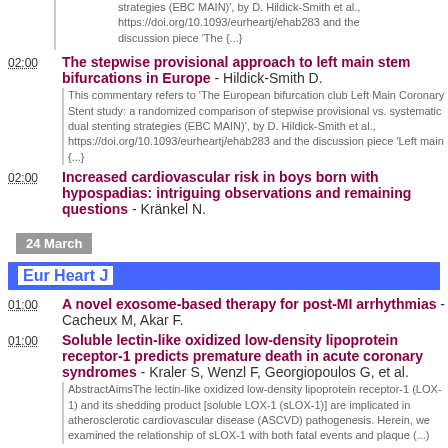strategies (EBC MAIN)', by D. Hildick-Smith et al., https://doi.org/10.1093/eurheartj/ehab283 and the discussion piece 'The (...)
02:00 The stepwise provisional approach to left main stem bifurcations in Europe - Hildick-Smith D. This commentary refers to 'The European bifurcation club Left Main Coronary Stent study: a randomized comparison of stepwise provisional vs. systematic dual stenting strategies (EBC MAIN)', by D. Hildick-Smith et al., https://doi.org/10.1093/eurheartj/ehab283 and the discussion piece 'Left main {...}
02:00 Increased cardiovascular risk in boys born with hypospadias: intriguing observations and remaining questions - Kränkel N.
24 March
Eur Heart J
01:00 A novel exosome-based therapy for post-MI arrhythmias - Cacheux M, Akar F.
01:00 Soluble lectin-like oxidized low-density lipoprotein receptor-1 predicts premature death in acute coronary syndromes - Kraler S, Wenzl F, Georgiopoulos G, et al. AbstractAimsThe lectin-like oxidized low-density lipoprotein receptor-1 (LOX-1) and its shedding product [soluble LOX-1 (sLOX-1)] are implicated in atherosclerotic cardiovascular disease (ASCVD) pathogenesis. Herein, we examined the relationship of sLOX-1 with both fatal events and plaque (...)
01:00 Mischief in the marrow: a root of